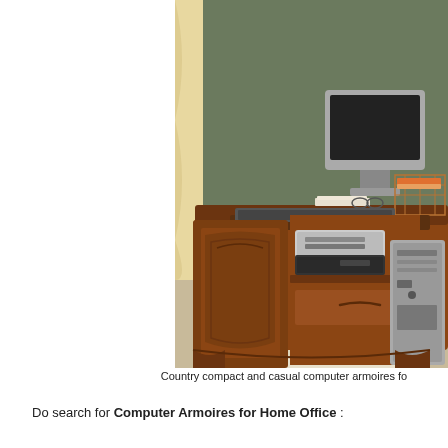[Figure (photo): A wooden country-style computer armoire with an open door revealing a printer, DVD player, drawer, and tower PC. A monitor, keyboard, glasses, and wire basket are visible on top. The furniture sits on a floral rug in a home office corner with curtains and olive-green walls.]
Country compact and casual computer armoires fo
Do search for Computer Armoires for Home Office :